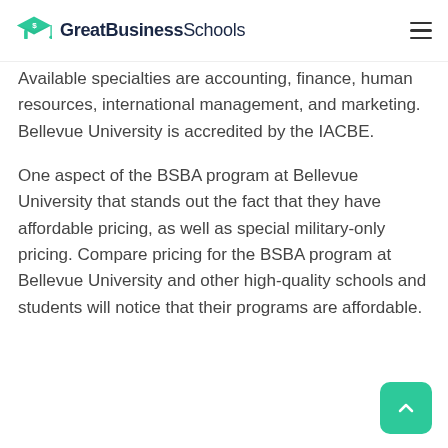GreatBusinessSchools
Available specialties are accounting, finance, human resources, international management, and marketing. Bellevue University is accredited by the IACBE.
One aspect of the BSBA program at Bellevue University that stands out the fact that they have affordable pricing, as well as special military-only pricing. Compare pricing for the BSBA program at Bellevue University and other high-quality schools and students will notice that their programs are affordable.